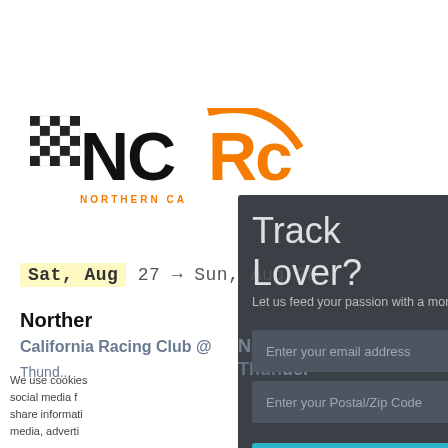[Figure (logo): NCRC Northern California Racing Club logo with checkered flag pattern and orange/black lettering]
Sat, Aug 27 → Sun, Aug 28
Northern California Racing Club @ Thunder...ll Raceway: Back...
We use cookies social media f share information media, adverti...
Track Lover?
Let us feed your passion with a monthly list of nearby ev...
Enter your email address
Enter your Postal/Zip Code
I'M A FAN, LET ME IN